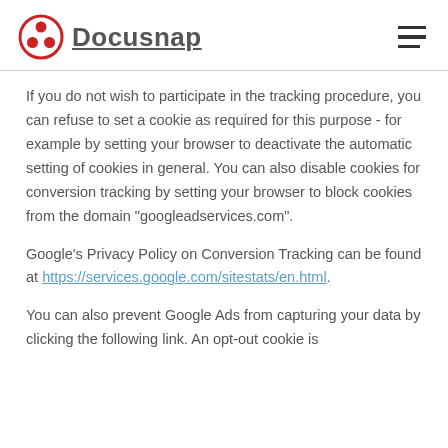Docusnap
If you do not wish to participate in the tracking procedure, you can refuse to set a cookie as required for this purpose - for example by setting your browser to deactivate the automatic setting of cookies in general. You can also disable cookies for conversion tracking by setting your browser to block cookies from the domain "googleadservices.com".
Google's Privacy Policy on Conversion Tracking can be found at https://services.google.com/sitestats/en.html.
You can also prevent Google Ads from capturing your data by clicking the following link. An opt-out cookie is